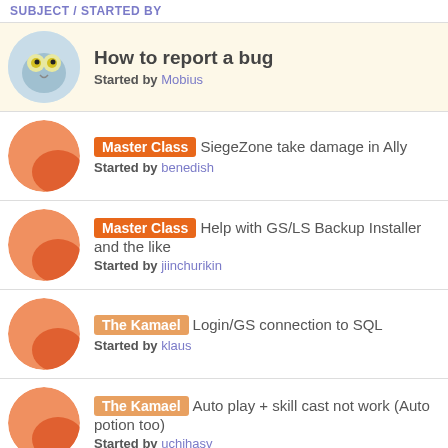SUBJECT / STARTED BY
How to report a bug — Started by Mobius
[Master Class] SiegeZone take damage in Ally — Started by benedish
[Master Class] Help with GS/LS Backup Installer and the like — Started by jiinchurikin
[The Kamael] Login/GS connection to SQL — Started by klaus
[The Kamael] Auto play + skill cast not work (Auto potion too) — Started by uchihasv
[High Five] players during siege do not attack — Started by kinghanker
[High Five] Error on Re-loading Script — Started by WereWoofer
[C6] Dropped item bug — Started by Strelook66
[High Five] Boss aggresion